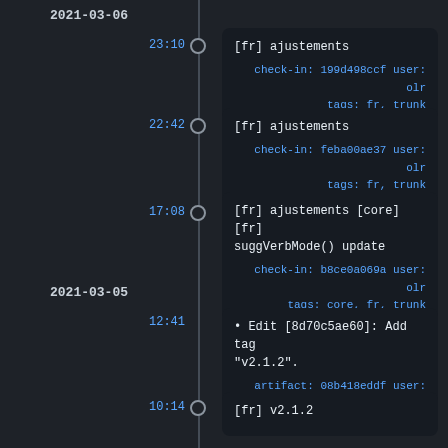2021-03-06
23:10
[fr] ajustements
check-in: 199d498ccf user: olr
tags: fr, trunk
22:42
[fr] ajustements
check-in: feba00ae37 user: olr
tags: fr, trunk
17:08
[fr] ajustements [core][fr]
suggVerbMode() update
check-in: b8ce0a069a user: olr
tags: core, fr, trunk
2021-03-05
12:41
• Edit [8d70c5ae60]: Add tag "v2.1.2".
artifact: 08b418eddf user: olr
10:14
[fr] v2.1.2